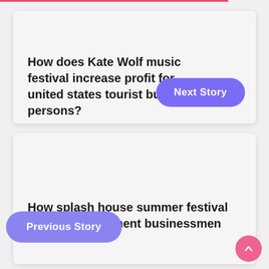How does Kate Wolf music festival increase profit for united states tourist business persons?
Next Story
How splash house summer festival gives entertainment businessmen
Previous Story